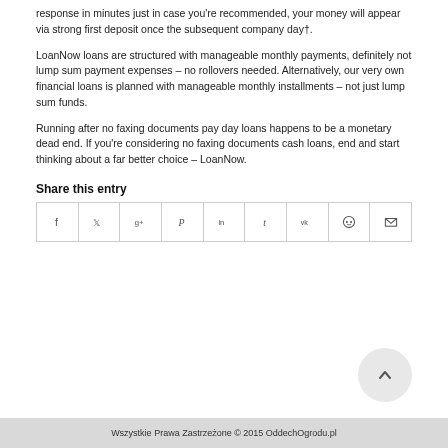response in minutes just in case you're recommended, your money will appear via strong first deposit once the subsequent company day†.
LoanNow loans are structured with manageable monthly payments, definitely not lump sum payment expenses – no rollovers needed. Alternatively, our very own financial loans is planned with manageable monthly installments – not just lump sum funds.
Running after no faxing documents pay day loans happens to be a monetary dead end. If you're considering no faxing documents cash loans, end and start thinking about a far better choice – LoanNow.
Share this entry
[Figure (other): Social sharing icon bar with icons: Facebook, Twitter, Google+, Pinterest, LinkedIn, Tumblr, VK, Reddit, Email]
Wszystkie Prawa Zastrzeżone © 2015 OddechOgrodu.pl